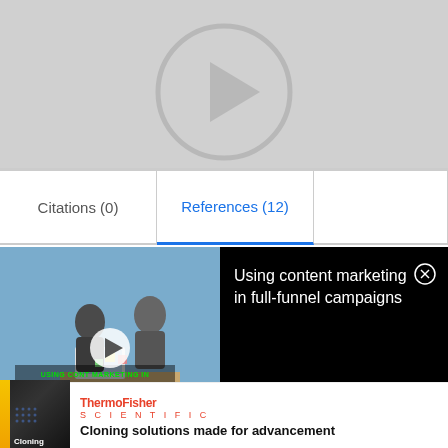[Figure (screenshot): Gray area with partially visible play button circle at top]
Citations (0)
References (12)
[Figure (screenshot): Video advertisement overlay: 'Using content marketing in full-funnel campaigns' with thumbnail of people working and a play button. Black right panel with white text and close button.]
[Figure (advertisement): Thermo Fisher Scientific ad: 'Cloning solutions made for advancement' with dark thumbnail showing 'Cloning' label and yellow stripe.]